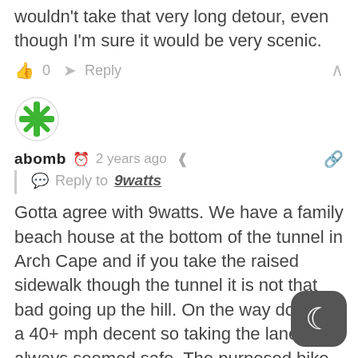wouldn't take that very long detour, even though I'm sure it would be very scenic.
👍 0  ➤ Reply  ∧
[Figure (illustration): Green snowflake/asterisk user avatar icon in a circle]
abomb  🕐 2 years ago  ⬡  🔗
Reply to 9watts
Gotta agree with 9watts. We have a family beach house at the bottom of the tunnel in Arch Cape and if you take the raised sidewalk though the tunnel it is not that bad going up the hill. On the way down its a 40+ mph decent so taking the lane has always seemed safe. The purposed bike path would ruin a very beautiful section of the Oregon Coast Trail single track that is great for hiking, trail running, and mt biking.